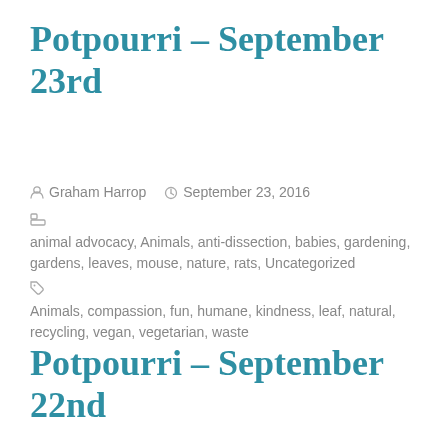Potpourri – September 23rd
Graham Harrop   September 23, 2016
animal advocacy, Animals, anti-dissection, babies, gardening, gardens, leaves, mouse, nature, rats, Uncategorized
Animals, compassion, fun, humane, kindness, leaf, natural, recycling, vegan, vegetarian, waste
Potpourri – September 22nd